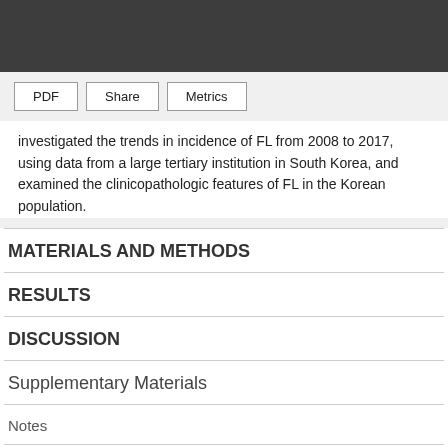investigated the trends in incidence of FL from 2008 to 2017, using data from a large tertiary institution in South Korea, and examined the clinicopathologic features of FL in the Korean population.
MATERIALS AND METHODS
RESULTS
DISCUSSION
Supplementary Materials
Notes
Notes